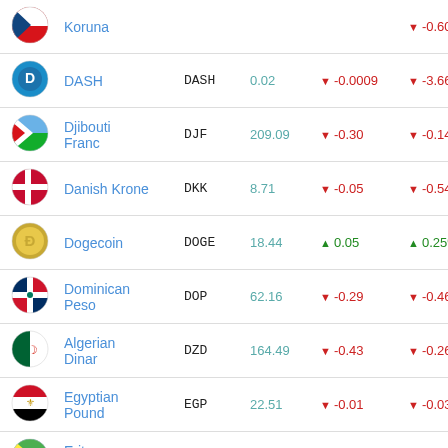| Icon | Name | Symbol | Value | Change | % Change | Ext |
| --- | --- | --- | --- | --- | --- | --- |
| [Czech] | Koruna |  |  |  | -0.60% |  |
| [DASH] | DASH | DASH | 0.02 | ▼ -0.0009 | ▼ -3.66% | ▼ -0.0 |
| [Djibouti] | Djibouti Franc | DJF | 209.09 | ▼ -0.30 | ▼ -0.14% | ▼ -0.5 |
| [Denmark] | Danish Krone | DKK | 8.71 | ▼ -0.05 | ▼ -0.54% | ▼ -0.0 |
| [Dogecoin] | Dogecoin | DOGE | 18.44 | ▲ 0.05 | ▲ 0.25% | ▲ 1.03 |
| [Dominican] | Dominican Peso | DOP | 62.16 | ▼ -0.29 | ▼ -0.46% | ▼ -0.9 |
| [Algeria] | Algerian Dinar | DZD | 164.49 | ▼ -0.43 | ▼ -0.26% | ▼ -2.2 |
| [Egypt] | Egyptian Pound | EGP | 22.51 | ▼ -0.01 | ▼ -0.03% | ▼ -0.0 |
| [Eritrea] | Eritrean Nakfa | ERN | 17.58 | ▲ 0.01 | ▲ 0.05% | ▼ -0.0 |
| [Ethiopia] | Ethiopian Birr | ETB | 61.40 | ▼ -0.55 |  | ▼ -0.4 |